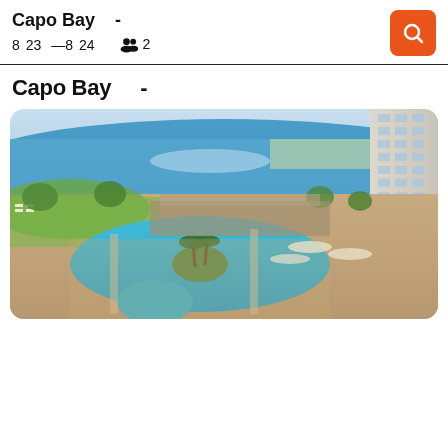Capo Bay  -  8 23 — 8 24  👥 2
Capo Bay  -
[Figure (photo): Aerial view of Capo Bay hotel resort showing a large outdoor swimming pool complex with palm trees, sunbeds, surrounding gardens, and the Mediterranean sea coastline in the background.]